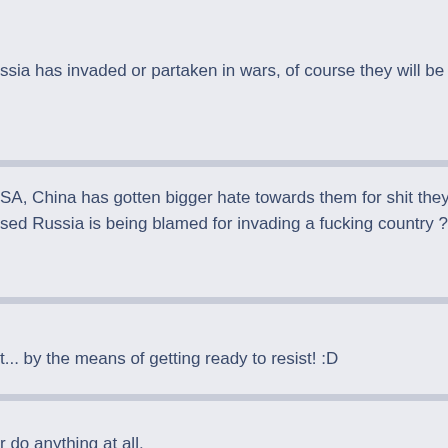ssia has invaded or partaken in wars, of course they will be blamed. Just like U
SA, China has gotten bigger hate towards them for shit they have done then R
sed Russia is being blamed for invading a fucking country ?
t... by the means of getting ready to resist! :D
r do anything at all.

icial military operation to rid a country from Nazis. They came with food rations
d nazi regime ran by a Jew. Its the horrible Azov that has destroyed the cities a
. While at the same time protecting themselves from horrible Ukrainians who h